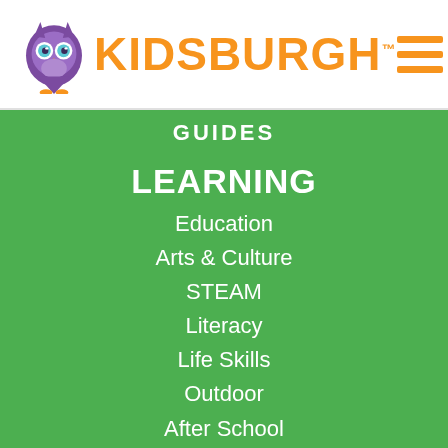[Figure (logo): Kidsburgh logo with purple owl mascot and orange KIDSBURGH text with TM mark, plus orange hamburger menu icon]
GUIDES
LEARNING
Education
Arts & Culture
STEAM
Literacy
Life Skills
Outdoor
After School
HEALTH & WELLNESS